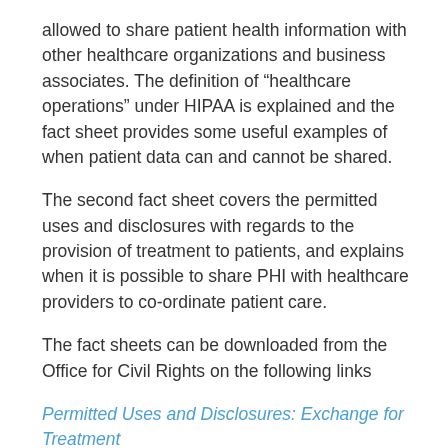allowed to share patient health information with other healthcare organizations and business associates. The definition of “healthcare operations” under HIPAA is explained and the fact sheet provides some useful examples of when patient data can and cannot be shared.
The second fact sheet covers the permitted uses and disclosures with regards to the provision of treatment to patients, and explains when it is possible to share PHI with healthcare providers to co-ordinate patient care.
The fact sheets can be downloaded from the Office for Civil Rights on the following links
Permitted Uses and Disclosures: Exchange for Treatment
Permitted Uses and Disclosures for Health Care Operations